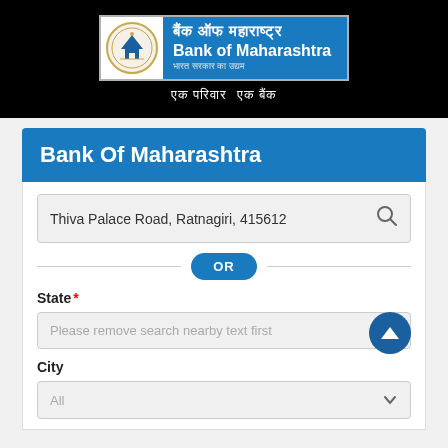[Figure (logo): Bank of Maharashtra logo with emblem, Hindi text 'बैंक ऑफ महाराष्ट्र', English text 'Bank of Maharashtra', subtitle 'भारत सरकार का उद्यम', and tagline 'एक परिवार एक बैंक' on black background]
Bank Of Maharashtra
Thiva Palace Road, Ratnagiri, 415612
OR
State *
Please remove search nearby text first
City
All